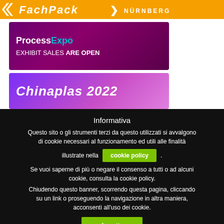[Figure (logo): FachPack Nürnberg orange banner with white logo text and 'NÜRNBERG' label]
[Figure (photo): ProcessExpo banner: purple background with 'Process Expo' logo and 'EXHIBIT SALES ARE OPEN' text]
[Figure (photo): Chinaplas 2022 banner with purple/pink gradient background and bold italic white text]
Informativa
Questo sito o gli strumenti terzi da questo utilizzati si avvalgono di cookie necessari al funzionamento ed utili alle finalità illustrate nella cookie policy.
Se vuoi saperne di più o negare il consenso a tutti o ad alcuni cookie, consulta la cookie policy.
Chiudendo questo banner, scorrendo questa pagina, cliccando su un link o proseguendo la navigazione in altra maniera, acconsenti all'uso dei cookie.
Accetta